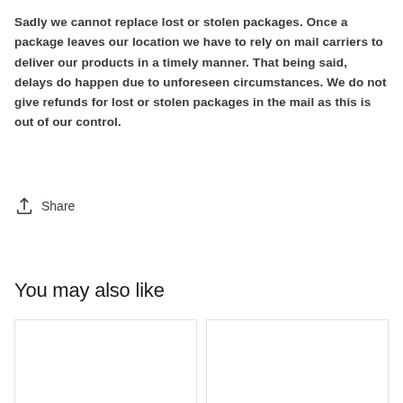Sadly we cannot replace lost or stolen packages. Once a package leaves our location we have to rely on mail carriers to deliver our products in a timely manner. That being said, delays do happen due to unforeseen circumstances. We do not give refunds for lost or stolen packages in the mail as this is out of our control.
Share
You may also like
[Figure (other): Two empty white product card placeholders side by side]